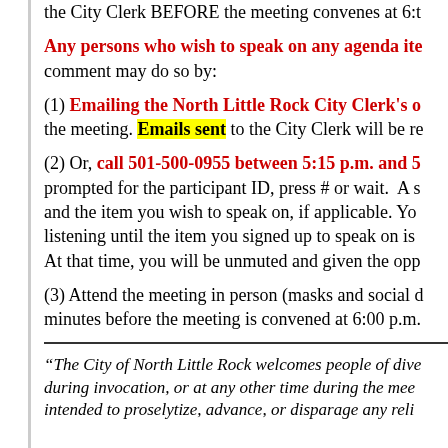the City Clerk BEFORE the meeting convenes at 6:t
Any persons who wish to speak on any agenda ite comment may do so by:
(1) Emailing the North Little Rock City Clerk's o the meeting. Emails sent to the City Clerk will be re
(2) Or, call 501-500-0955 between 5:15 p.m. and 5 prompted for the participant ID, press # or wait. A s and the item you wish to speak on, if applicable. Yo listening until the item you signed up to speak on is At that time, you will be unmuted and given the opp
(3) Attend the meeting in person (masks and social d minutes before the meeting is convened at 6:00 p.m.
“The City of North Little Rock welcomes people of dive during invocation, or at any other time during the mee intended to proselytize, advance, or disparage any reli